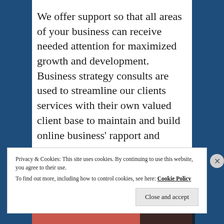We offer support so that all areas of your business can receive needed attention for maximized growth and development. Business strategy consults are used to streamline our clients services with their own valued client base to maintain and build online business' rapport and
Privacy & Cookies: This site uses cookies. By continuing to use this website, you agree to their use.
To find out more, including how to control cookies, see here: Cookie Policy
Close and accept